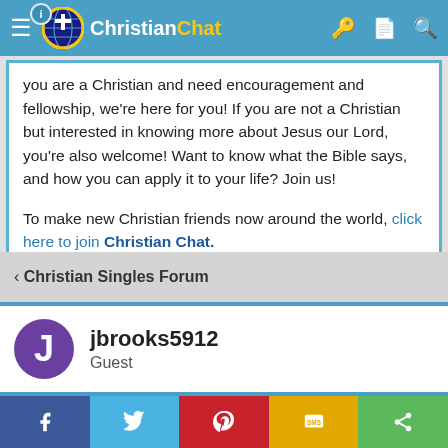ChristianChat - Navigation bar
you are a Christian and need encouragement and fellowship, we're here for you! If you are not a Christian but interested in knowing more about Jesus our Lord, you're also welcome! Want to know what the Bible says, and how you can apply it to your life? Join us!
To make new Christian friends now around the world, click here to join Christian Chat.
< Christian Singles Forum
jbrooks5912
Guest